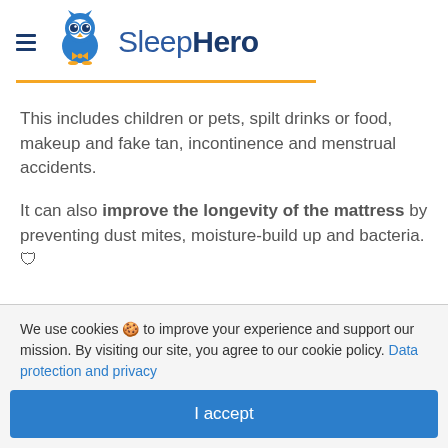SleepHero
This includes children or pets, spilt drinks or food, makeup and fake tan, incontinence and menstrual accidents.
It can also improve the longevity of the mattress by preventing dust mites, moisture-build up and bacteria. 🛡
We use cookies 🍪 to improve your experience and support our mission. By visiting our site, you agree to our cookie policy. Data protection and privacy
I accept